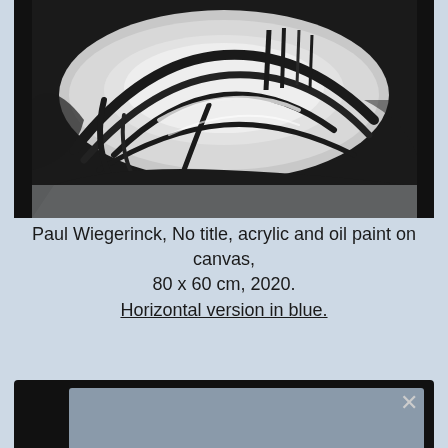[Figure (illustration): Painting by Paul Wiegerinck, no title. Abstract artwork showing a bowl-like form with sweeping black brushstrokes against a dark background, rendered in black, white, and grey tones. Acrylic and oil paint on canvas.]
Paul Wiegerinck, No title, acrylic and oil paint on canvas, 80 x 60 cm, 2020. Horizontal version in blue.
[Figure (screenshot): Bottom portion of a darkened overlay panel with a close (×) button in the top-right corner and a grey inner preview area, partially visible at the bottom of the page.]